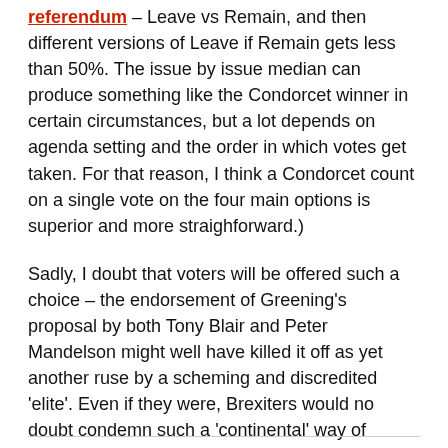referendum – Leave vs Remain, and then different versions of Leave if Remain gets less than 50%. The issue by issue median can produce something like the Condorcet winner in certain circumstances, but a lot depends on agenda setting and the order in which votes get taken. For that reason, I think a Condorcet count on a single vote on the four main options is superior and more straighforward.)
Sadly, I doubt that voters will be offered such a choice – the endorsement of Greening's proposal by both Tony Blair and Peter Mandelson might well have killed it off as yet another ruse by a scheming and discredited 'elite'. Even if they were, Brexiters would no doubt condemn such a 'continental' way of counting votes as biased against them. As a result, we appear destined to end up with the least favoured options of c) or d).